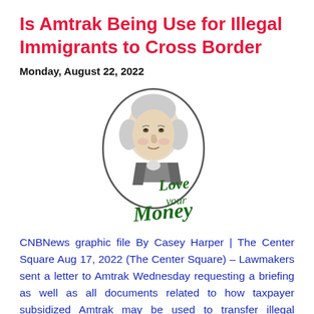Is Amtrak Being Use for Illegal Immigrants to Cross Border
Monday, August 22, 2022
[Figure (logo): Love Your Money logo featuring portrait of George Washington in an oval frame with 'Love your Money' text in green cursive below]
CNBNews graphic file By Casey Harper | The Center Square Aug 17, 2022 (The Center Square) – Lawmakers sent a letter to Amtrak Wednesday requesting a briefing as well as all documents related to how taxpayer subsidized Amtrak may be used to transfer illegal immigrants across the border. The Republicans